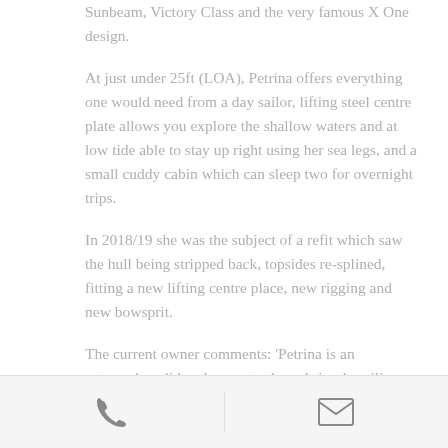Sunbeam, Victory Class and the very famous X One design.
At just under 25ft (LOA), Petrina offers everything one would need from a day sailor, lifting steel centre plate allows you explore the shallow waters and at low tide able to stay up right using her sea legs, and a small cuddy cabin which can sleep two for overnight trips.
In 2018/19 she was the subject of a refit which saw the hull being stripped back, topsides re-splined, fitting a new lifting centre place, new rigging and new bowsprit.
The current owner comments: 'Petrina is an extremely solid and very steady and simple sailing vessel
phone and email icons